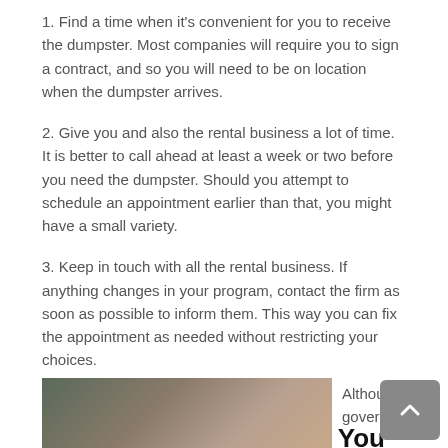1. Find a time when it's convenient for you to receive the dumpster. Most companies will require you to sign a contract, and so you will need to be on location when the dumpster arrives.
2. Give you and also the rental business a lot of time. It is better to call ahead at least a week or two before you need the dumpster. Should you attempt to schedule an appointment earlier than that, you might have a small variety.
3. Keep in touch with all the rental business. If anything changes in your program, contact the firm as soon as possible to inform them. This way you can fix the appointment as needed without restricting your choices.
Construction Dumpster Rental in Gassville - Do You Want One?
[Figure (photo): Photo of a construction building or dumpster scene]
Although local governments